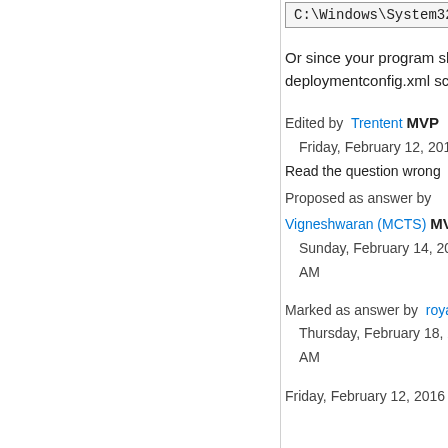[Figure (screenshot): Code snippet box showing: C:\Windows\System32\cmd.exe /c]
Or since your program should be static since you are publishing just do a deploymentconfig.xml script that does your copy.
Edited by Trentent MVP
Friday, February 12, 2016 5:58 PM
Read the question wrong
Proposed as answer by Vigneshwaran (MCTS) MVP
Sunday, February 14, 2016 10:45 AM
Marked as answer by royambar
Thursday, February 18, 2016 11:05 AM
Friday, February 12, 2016 5:52 PM